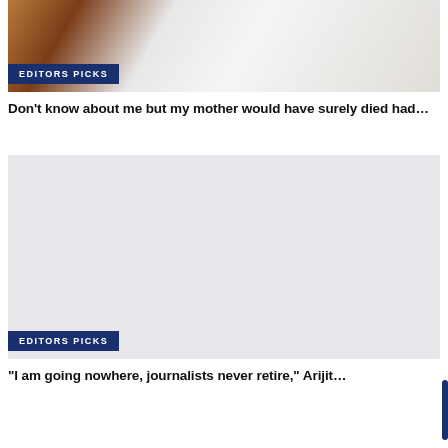[Figure (photo): Partial photo of a person in a white coat/shirt with colorful flags in background, cropped at top]
EDITORS PICKS
Don't know about me but my mother would have surely died had…
[Figure (photo): Light grey placeholder image for a second article]
EDITORS PICKS
"I am going nowhere, journalists never retire," Arijit…